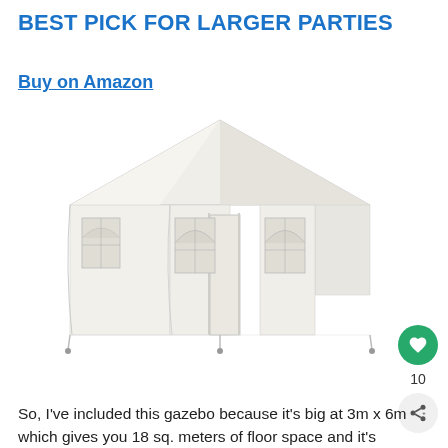BEST PICK FOR LARGER PARTIES
Buy on Amazon
[Figure (photo): A large white gazebo/party tent with side walls and arched windows, shown in a product photo against a white background.]
So, I've included this gazebo because it's big at 3m x 6m which gives you 18 sq. meters of floor space and it's